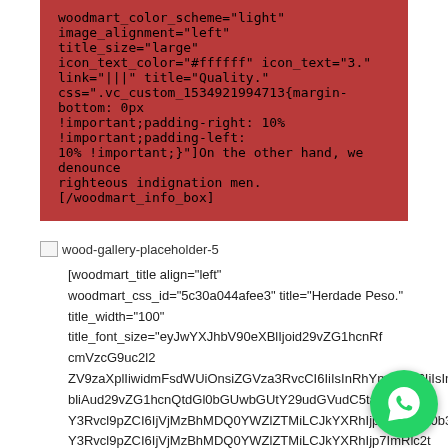woodmart_color_scheme="light" image_alignment="left" title_size="large" icon_text_color="#ffffff" icon_text="3." link="|||" title="Quality." css=".vc_custom_1534921994713{margin-bottom: 0px !important;padding-right: 10% !important;padding-left: 10% !important;}"]On the other hand, we denounce righteous indignation men.[/woodmart_info_box]
[Figure (other): Broken image placeholder labeled wood-gallery-placeholder-5]
[woodmart_title align="left" woodmart_css_id="5c30a044afee3" title="Herdade Peso." title_width="100" title_font_size="eyJwYXJhbV90eXBlIjoid29vZG1hcnRfcmVzcG9uc2l2ZV9zaXplIiwidmFsdWUiOnsiZGVza3RvcCI6IiIsInRhYmxldCI6IiIsInBob25lIjoiIn19 bliAud29vZG1hcnQtdGl0bGUwbGUtY29udGVudC5taWxl19LCJ Y3Rvcl9pZCI6IjVjMzBhMDQ0YWZlZTMiLCJkYXRhIjp7ImRlc2t0b3AiOiIiLCJ0YWJsZXQiOiIiLCJwaG9uZSI6IiJ9fQ==